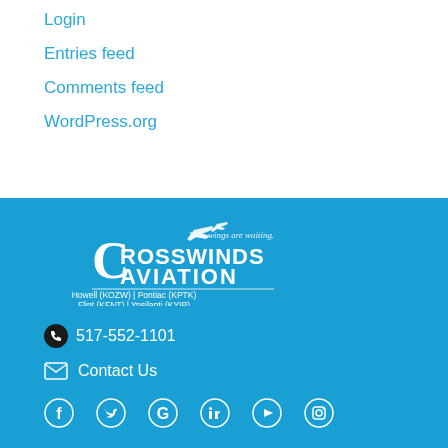Login
Entries feed
Comments feed
WordPress.org
[Figure (logo): Crosswinds Aviation logo with airplane silhouette and tagline 'Your wings are waiting.' with locations Howell (KOZW) | Pontiac (KPTK) | Flint (KFNT) | Ypsilanti (KYIP)]
517-552-1101
Contact Us
[Figure (infographic): Social media icons: Facebook, Twitter, Google, LinkedIn, YouTube, Instagram]
Menu
Client Signup